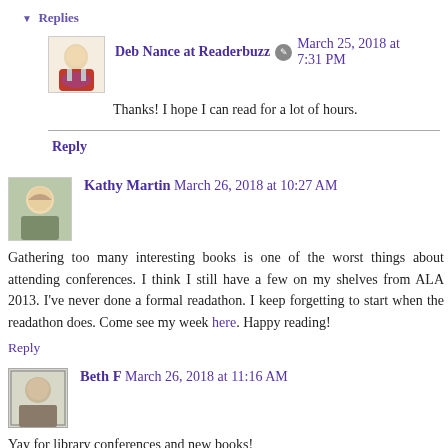▼ Replies
Deb Nance at Readerbuzz ✎ March 25, 2018 at 7:31 PM
Thanks! I hope I can read for a lot of hours.
Reply
Kathy Martin March 26, 2018 at 10:27 AM
Gathering too many interesting books is one of the worst things about attending conferences. I think I still have a few on my shelves from ALA 2013. I've never done a formal readathon. I keep forgetting to start when the readathon does. Come see my week here. Happy reading!
Reply
Beth F March 26, 2018 at 11:16 AM
Yay for library conferences and new books!